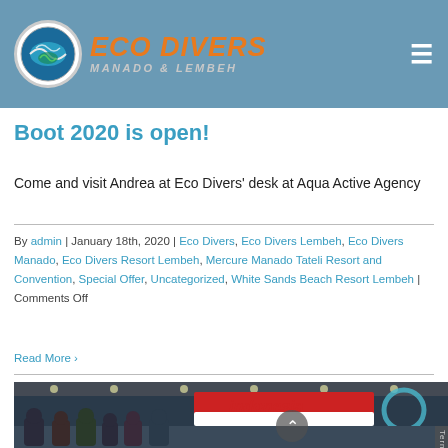ECO DIVERS MANADO & LEMBEH
Boot 2020 is open!
Come and visit Andrea at Eco Divers' desk at Aqua Active Agency
By admin | January 18th, 2020 | Eco Divers, Eco Divers Lembeh, Eco Divers Manado, Eco Divers Resort Lembeh, Mercure Manado Tateli Resort and Convention, Special Offer, Uncategorized, White Sands Beach Resort Lembeh | Comments Off
Read More
[Figure (photo): Group photo of people at the Indonesia booth at Boot 2020 trade show, indoor convention center setting with Indonesia branding visible]